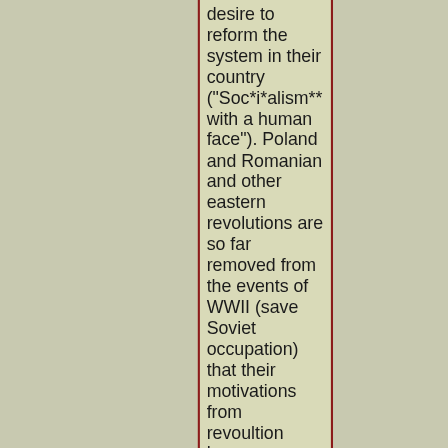desire to reform the system in their country ("Soc*i*alism** with a human face"). Poland and Romanian and other eastern revolutions are so far removed from the events of WWII (save Soviet occupation) that their motivations from revoultion have no bearing on this discussion
But that is besides the point: we're talking about WWII here. All